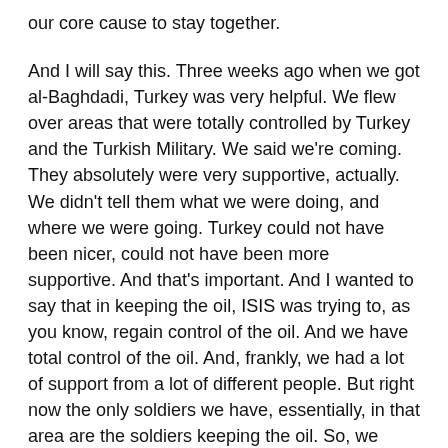our core cause to stay together.
And I will say this. Three weeks ago when we got al-Baghdadi, Turkey was very helpful. We flew over areas that were totally controlled by Turkey and the Turkish Military. We said we're coming. They absolutely were very supportive, actually. We didn't tell them what we were doing, and where we were going. Turkey could not have been nicer, could not have been more supportive. And that's important. And I wanted to say that in keeping the oil, ISIS was trying to, as you know, regain control of the oil. And we have total control of the oil. And, frankly, we had a lot of support from a lot of different people. But right now the only soldiers we have, essentially, in that area are the soldiers keeping the oil. So, we have the oil and we can do with the oil what we want.
[Reporter] But Turkey bought Russian missiles. How is that being on the side of the US?